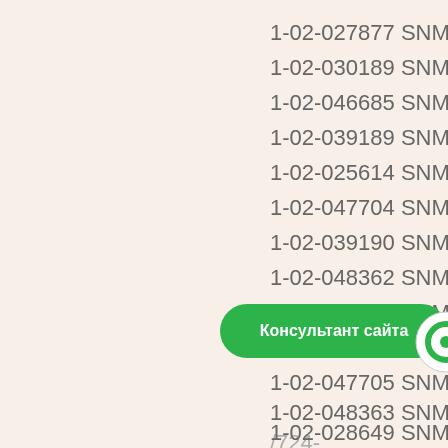1-02-027877 SNMG250716-
1-02-030189 SNMG250716-
1-02-046685 SNMG250716-
1-02-039189 SNMG250716-
1-02-025614 SNMG250724-
1-02-047704 SNMG250724-
1-02-039190 SNMG250724-
1-02-048362 SNMG250724-
1-02-028972 SNMG250724-
1-02-026615 SNMG250724-
1-02-047705 SNMG250724-
1-02-048363 SNMG250724-
[partially obscured] /724-
1-02-028649 SNMG250724-
Консультант сайта